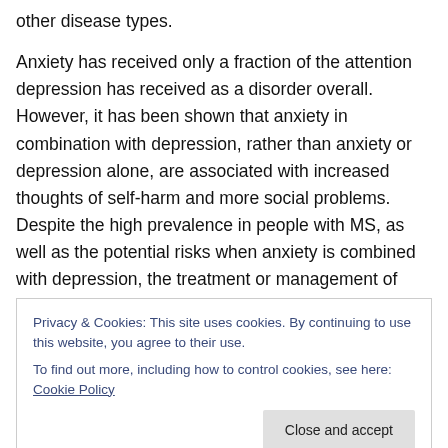other disease types.
Anxiety has received only a fraction of the attention depression has received as a disorder overall. However, it has been shown that anxiety in combination with depression, rather than anxiety or depression alone, are associated with increased thoughts of self-harm and more social problems. Despite the high prevalence in people with MS, as well as the potential risks when anxiety is combined with depression, the treatment or management of anxiety in MS has not been specifically studied. In my
Privacy & Cookies: This site uses cookies. By continuing to use this website, you agree to their use.
To find out more, including how to control cookies, see here: Cookie Policy
Another challenging factor is the difficulty faced by